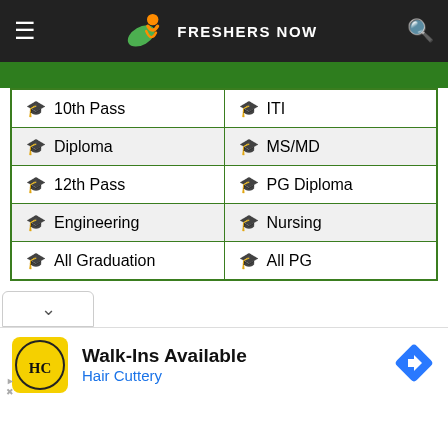Freshers Now
| 10th Pass | ITI |
| Diploma | MS/MD |
| 12th Pass | PG Diploma |
| Engineering | Nursing |
| All Graduation | All PG |
[Figure (screenshot): Ad banner for Hair Cuttery: Walk-Ins Available, with HC logo and navigation arrow icon]